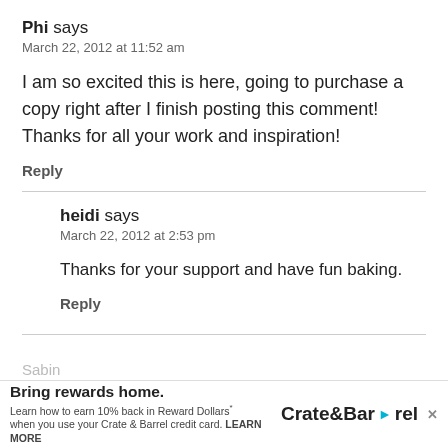Phi says
March 22, 2012 at 11:52 am
I am so excited this is here, going to purchase a copy right after I finish posting this comment! Thanks for all your work and inspiration!
Reply
heidi says
March 22, 2012 at 2:53 pm
Thanks for your support and have fun baking.
Reply
Sabin
[Figure (other): Crate & Barrel advertisement banner: 'Bring rewards home. Learn how to earn 10% back in Reward Dollars when you use your Crate & Barrel credit card. LEARN MORE']